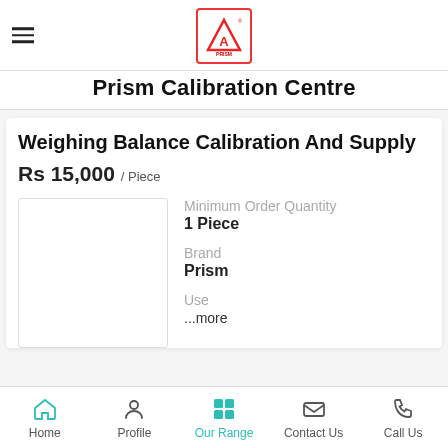[Figure (logo): Prism Calibration Centre logo — red triangle with A symbol inside a red-bordered square]
Prism Calibration Centre
Weighing Balance Calibration And Supply
Rs 15,000 / Piece
Minimum Order Quantity
1 Piece
Brand
Prism
Use
...more
Home  Profile  Our Range  Contact Us  Call Us